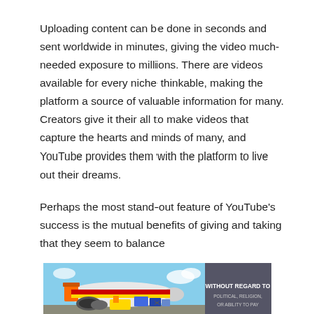Uploading content can be done in seconds and sent worldwide in minutes, giving the video much-needed exposure to millions. There are videos available for every niche thinkable, making the platform a source of valuable information for many. Creators give it their all to make videos that capture the hearts and minds of many, and YouTube provides them with the platform to live out their dreams.
Perhaps the most stand-out feature of YouTube's success is the mutual benefits of giving and taking that they seem to balance
[Figure (photo): Advertisement image showing an airplane being loaded with cargo on an airport tarmac. A banner on the right side reads 'WITHOUT REGARD TO POLITICAL, RELIGION, OR ABILITY TO PAY'.]
×